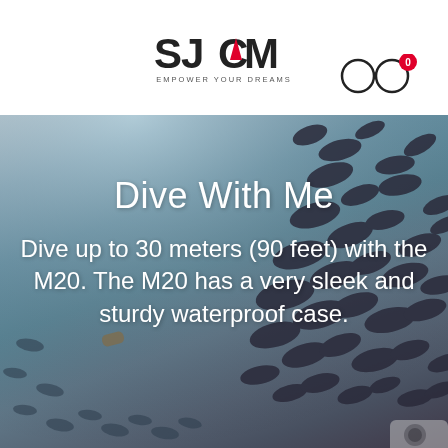[Figure (logo): SJCAM logo with tagline EMPOWER YOUR DREAMS]
[Figure (illustration): Two circle icons (user/cart) with a red badge showing 0]
[Figure (photo): Underwater photo with fish swimming, used as hero background]
Dive With Me
Dive up to 30 meters (90 feet) with the M20. The M20 has a very sleek and sturdy waterproof case.